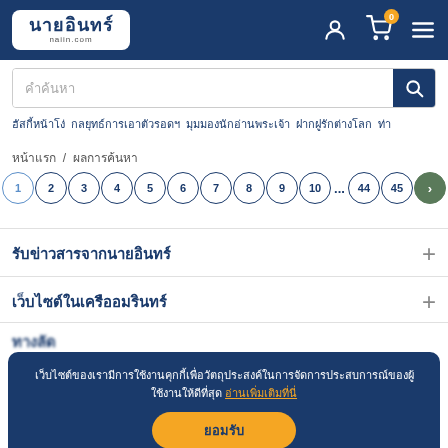นายอินทร์ naiin.com
คำค้นหา
ฮัสกี้หน้าโง่  กลยุทธ์การเอาตัวรอดฯ  มุมมองนักอ่านพระเจ้า  ฝากฝูรักต่างโลก  ท่า
หน้าแรก  /  ผลการค้นหา
Pagination: 1 2 3 4 5 6 7 8 9 10 ... 44 45 >
รับข่าวสารจากนายอินทร์
เว็บไซต์ในเครืออมรินทร์
ทางลัด
สินค้า
เว็บไซต์ของเรามีการใช้งานคุกกี้เพื่อวัตถุประสงค์ในการจัดการประสบการณ์ของผู้ใช้งานให้ดีที่สุด อ่านเพิ่มเติมที่นี่
ยอมรับ